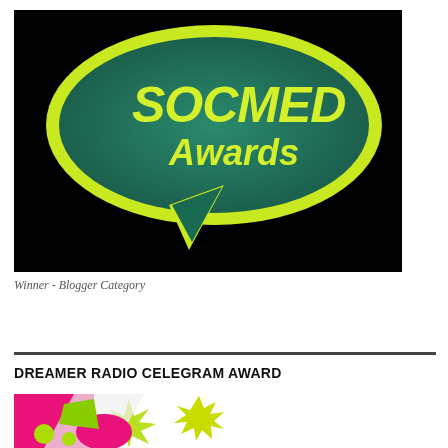[Figure (logo): SocMed Awards logo – speech bubble shape with green and yellow gradient fill on black background, text reads 'SOCMED Awards']
Winner - Blogger Category
DREAMER RADIO CELEGRAM AWARD
[Figure (photo): Partial colorful image showing pink, green and yellow elements with a starburst graphic, partially cropped at bottom of page]